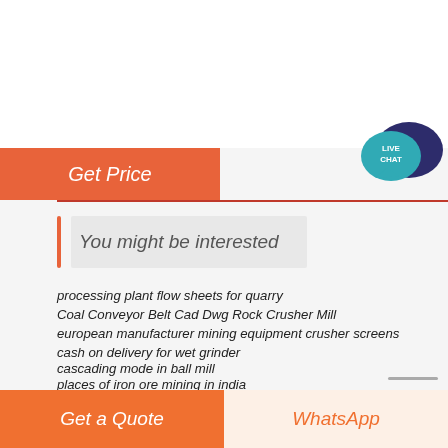[Figure (other): Live Chat speech bubble icon in teal and dark blue]
Get Price
You might be interested
processing plant flow sheets for quarry
Coal Conveyor Belt Cad Dwg Rock Crusher Mill
european manufacturer mining equipment crusher screens
cash on delivery for wet grinder
cascading mode in ball mill
places of iron ore mining in india
crusher jaw plates manufacturers
Grinding Of Calcined Gypsum
feldspar pegmatites in gambia
crushing machines in turkey
Pf Series Electric Impact Crusher Or Mill
Get a Quote
WhatsApp